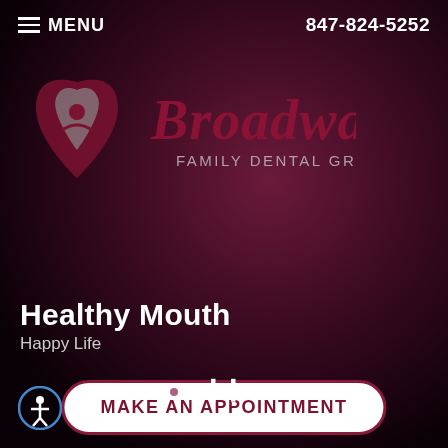MENU    847-824-5252
[Figure (logo): Broadway Family Dental Group logo with heart-shaped icon containing stylized figures, and script text 'Broadway' above 'FAMILY DENTAL GROUP']
Healthy Mouth
Happy Life
MAKE AN APPOINTMENT
[Figure (other): Pause button (two vertical bars) and small dot indicator for slideshow]
[Figure (other): Accessibility icon - person in circle]